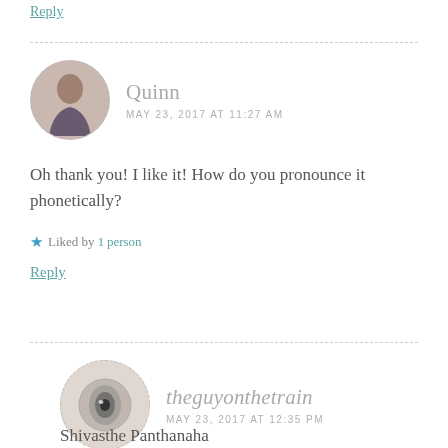Reply
Quinn
MAY 23, 2017 AT 11:27 AM
Oh thank you! I like it! How do you pronounce it phonetically?
Liked by 1person
Reply
theguyonthetrain
MAY 23, 2017 AT 12:35 PM
Shivasthe Panthanaha